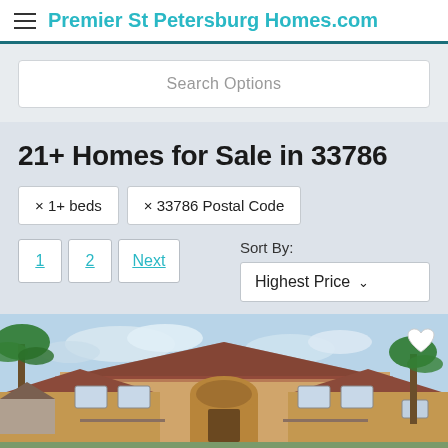Premier St Petersburg Homes.com
Search Options
21+ Homes for Sale in 33786
× 1+ beds
× 33786 Postal Code
1  2  Next
Sort By: Highest Price
[Figure (photo): Exterior photo of a large Florida-style stucco home with palm trees, red tile roof, arched entryway, and a cloudy blue sky background.]